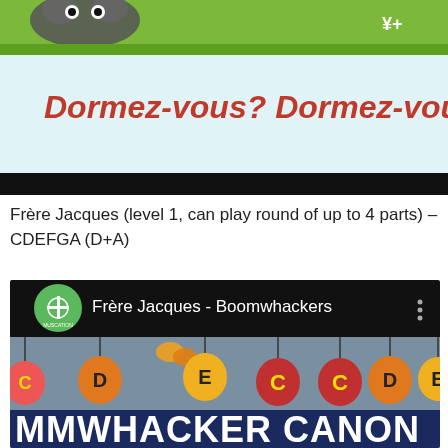[Figure (screenshot): Top portion of an educational app screenshot showing a cartoon illustration with green grass background and a light blue panel with red italic text 'Dormez-vous? Dormez-vous?' and a black bar at the bottom]
Frère Jacques (level 1, can play round of up to 4 parts) – CDEFGA (D+A)
[Figure (screenshot): YouTube video screenshot showing 'Frère Jacques - Boomwhackers' with a green Muscation logo, black header bar with menu dots, and below it colorful hanging bells with letters D, E, C, C, D, E on a blue-grey background, and at the bottom partial text 'MMWHACKER CANON' in white bold letters on dark blue]